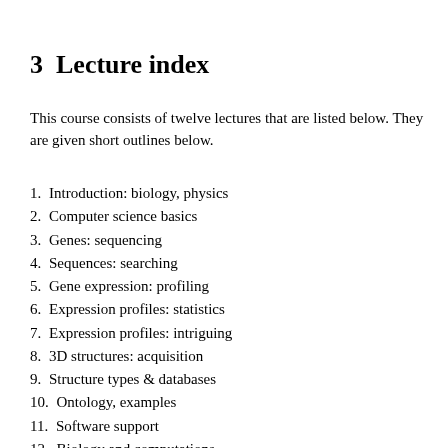3  Lecture index
This course consists of twelve lectures that are listed below. They are given short outlines below.
1. Introduction: biology, physics
2. Computer science basics
3. Genes: sequencing
4. Sequences: searching
5. Gene expression: profiling
6. Expression profiles: statistics
7. Expression profiles: intriguing
8. 3D structures: acquisition
9. Structure types & databases
10. Ontology, examples
11. Software support
12. Biology and computations